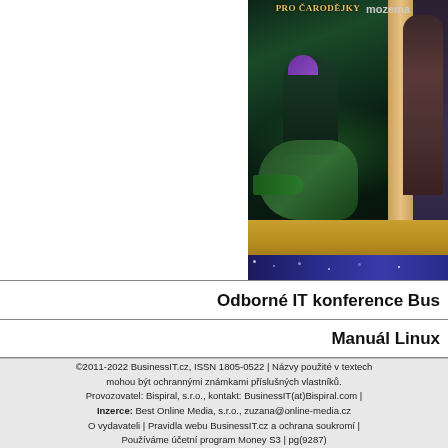[Figure (illustration): Book cover illustration showing a fantasy scene with a girl holding a torch, green monster creatures, dark dungeon setting. Title text 'PRO ČARODĚJKY' visible. Partially visible second book/figure on the right with 'mozema' text.]
Odborné IT konference Bus
Manuál Linux
©2011-2022 BusinessIT.cz, ISSN 1805-0522 | Názvy použité v textech mohou být ochrannými známkami příslušných vlastníků. Provozovatel: Bispiral, s.r.o., kontakt: BusinessIT(at)Bispiral.com | Inzerce: Best Online Media, s.r.o., zuzana@online-media.cz O vydavateli | Pravidla webu BusinessIT.cz a ochrana soukromí | Používáme účetní program Money S3 | pg(9287)